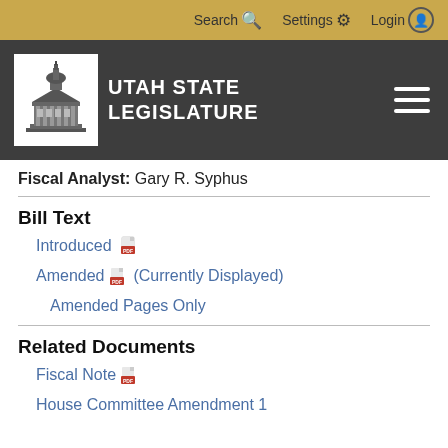Search  Settings  Login
[Figure (logo): Utah State Legislature logo with capitol building icon and text 'UTAH STATE LEGISLATURE']
Fiscal Analyst: Gary R. Syphus
Bill Text
Introduced [PDF icon]
Amended [PDF icon] (Currently Displayed)
Amended Pages Only
Related Documents
Fiscal Note [PDF icon]
House Committee Amendment 1